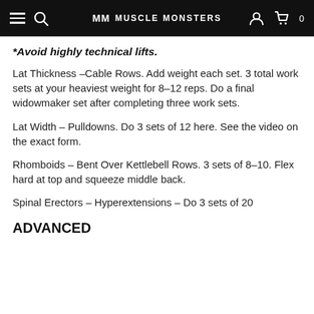MM MUSCLE MONSTERS
*Avoid highly technical lifts.
Lat Thickness –Cable Rows. Add weight each set. 3 total work sets at your heaviest weight for 8–12 reps. Do a final widowmaker set after completing three work sets.
Lat Width – Pulldowns. Do 3 sets of 12 here. See the video on the exact form.
Rhomboids – Bent Over Kettlebell Rows. 3 sets of 8–10. Flex hard at top and squeeze middle back.
Spinal Erectors – Hyperextensions – Do 3 sets of 20
ADVANCED